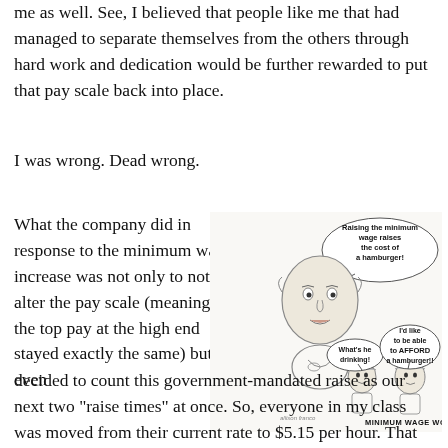me as well.  See, I believed that people like me that had managed to separate themselves from the others through hard work and dedication would be further rewarded to put that pay scale back into place.
I was wrong.  Dead wrong.
What the company did in response to the minimum wage increase was not only to not alter the pay scale (meaning the top pay at the high end stayed exactly the same) but it even decided to count this government-mandated raise as our next two “raise times” at once.  So, everyone in my class was moved from their current rate to $5.15 per hour.  That was our raises
[Figure (illustration): Editorial cartoon showing a man speaking with a speech bubble saying 'Raising the minimum wage raises the cost of a hamburger!' Two smaller figures below have speech bubbles: one says 'What's he drinking!' and the other says 'I'd like to be able to AFFORD a hamburger!!' Caption reads 'MINIMUM WAGE WORKERS']